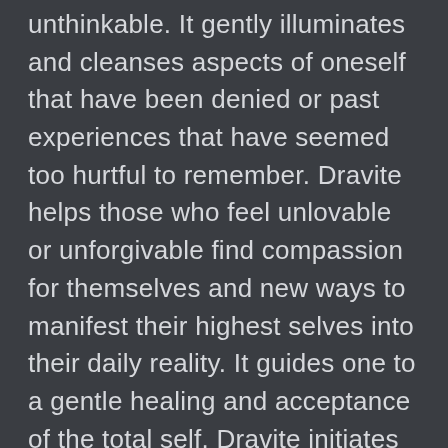unthinkable. It gently illuminates and cleanses aspects of oneself that have been denied or past experiences that have seemed too hurtful to remember. Dravite helps those who feel unlovable or unforgivable find compassion for themselves and new ways to manifest their highest selves into their daily reality. It guides one to a gentle healing and acceptance of the total self. Dravite initiates deep healing for those who have experienced emotional trauma. It helps those who feel overwhelmed release panic. Dravite is excellent for blood purification and for clearing and healing the lymphatic system. It helps shift the physical body through changing negative habits and patterns such as overcoming addiction, stopping self-abusive behaviour, or moving toward a more vibrant state of